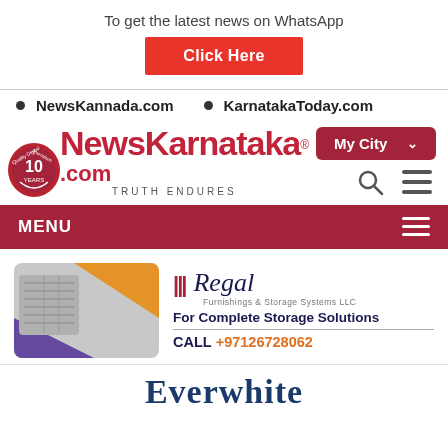To get the latest news on WhatsApp
Click Here
• NewsKannada.com   • KarnatakaToday.com
[Figure (logo): NewsKarnataka.com logo with 10 years badge and tagline TRUTH ENDURES]
My City
MENU
[Figure (infographic): Regal Furnishings & Storage Systems LLC advertisement - For Complete Storage Solutions, CALL +97126728062]
[Figure (logo): Everwhite logo partial]